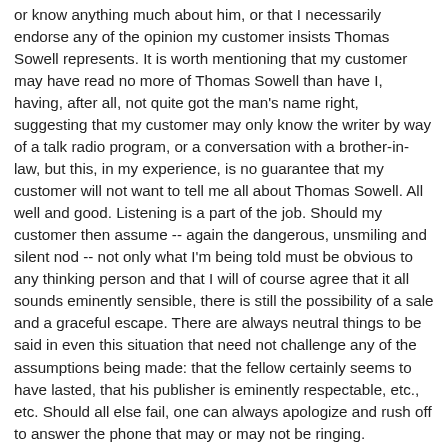or know anything much about him, or that I necessarily endorse any of the opinion my customer insists Thomas Sowell represents. It is worth mentioning that my customer may have read no more of Thomas Sowell than have I, having, after all, not quite got the man's name right, suggesting that my customer may only know the writer by way of a talk radio program, or a conversation with a brother-in-law, but this, in my experience, is no guarantee that my customer will not want to tell me all about Thomas Sowell. All well and good. Listening is a part of the job. Should my customer then assume -- again the dangerous, unsmiling and silent nod -- not only what I'm being told must be obvious to any thinking person and that I will of course agree that it all sounds eminently sensible, there is still the possibility of a sale and a graceful escape. There are always neutral things to be said in even this situation that need not challenge any of the assumptions being made: that the fellow certainly seems to have lasted, that his publisher is eminently respectable, etc., etc. Should all else fail, one can always apologize and rush off to answer the phone that may or may not be ringing.